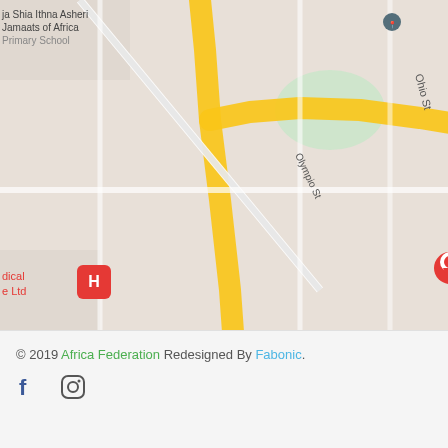[Figure (map): Google Maps screenshot showing Dar es Salaam city center area with Africa Federation location marked with a red pin. Yellow highlighted route visible. Key landmarks include: Dar es Salaam Serena (top right, pink), Holiday Inn Dar Es Salaam City (right, pink), Dar es Salaam Institute of Technology (left), General Post Office (right center), Chowpatty restaurant (center orange), Hotel Sapphire (center pink), AFRICAN RELIEF ORGANIZATION (bottom left), City Mall (bottom left), Youth for Africa Organisation (bottom right). Street names: Ohio St, Olympio St, Kisutu St, India St, Gha... Street icons for hospital, transit, shopping etc.]
© 2019 Africa Federation Redesigned By Fabonic.